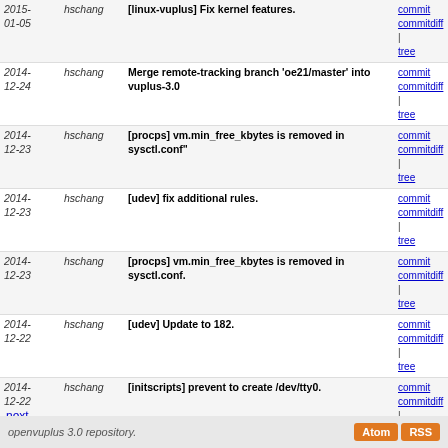| Date | Author | Message | Links |
| --- | --- | --- | --- |
| 2015-01-05 | hschang | [linux-vuplus] Fix kernel features. | commit
commitdiff
| tree |
| 2014-12-24 | hschang | Merge remote-tracking branch 'oe21/master' into vuplus-3.0 | commit
commitdiff
| tree |
| 2014-12-23 | hschang | [procps] vm.min_free_kbytes is removed in sysctl.conf" | commit
commitdiff
| tree |
| 2014-12-23 | hschang | [udev] fix additional rules. | commit
commitdiff
| tree |
| 2014-12-23 | hschang | [procps] vm.min_free_kbytes is removed in sysctl.conf. | commit
commitdiff
| tree |
| 2014-12-22 | hschang | [udev] Update to 182. | commit
commitdiff
| tree |
| 2014-12-22 | hschang | [initscripts] prevent to create /dev/tty0. | commit
commitdiff
| tree |
| 2014-12-19 | hschang | [orc] remove error messages. | commit
commitdiff
| tree |
| 2014-12-18 | hschang | [orc] update to lastest version in oe-core. | commit
commitdiff
| tree |
| 2014-12-18 | hschang | [gst-plugins-base] add cdparanoia to DEPENDS. | commit
commitdiff
| tree |
| 2014-12-18 | hschang | [wvdial, wvstreams] update to lastest version in oe... | commit
commitdiff
| tree |
next
openvuplus 3.0 repository.